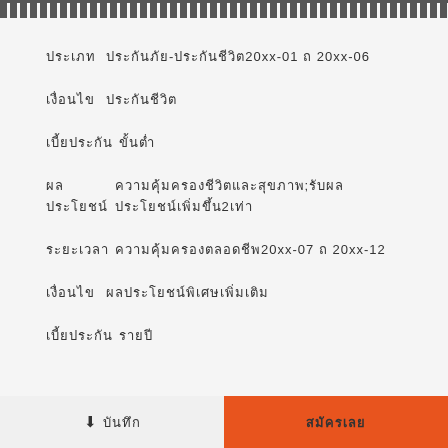[decorative border pattern]
ประเภท ประกันภัย-ประกันชีวิต20xx-01 ถ 20xx-06
เงื่อนไข ประกันชีวิต
เบี้ยประกัน ขั้นต่ำ
ผลประโยชน์ ความคุ้มครองชีวิตและสุขภาพ;รับผลประโยชน์เพิ่มขึ้น2เท่า
ระยะเวลา ความคุ้มครองตลอดชีพ20xx-07 ถ 20xx-12
เงื่อนไข ผลประโยชน์พิเศษเพิ่มเติม
เบี้ยประกัน รายปี
↓ บันทึก | สมัครเลย